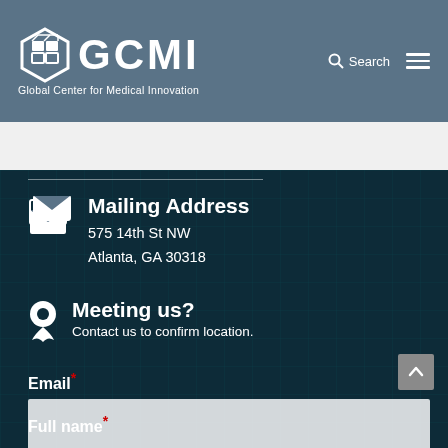[Figure (logo): GCMI logo — hexagonal icon with text 'GCMI' and subtitle 'Global Center for Medical Innovation' on a slate-blue header bar with Search and hamburger menu icons]
Mailing Address
575 14th St NW
Atlanta, GA 30318
Meeting us?
Contact us to confirm location.
Email *
Full name *